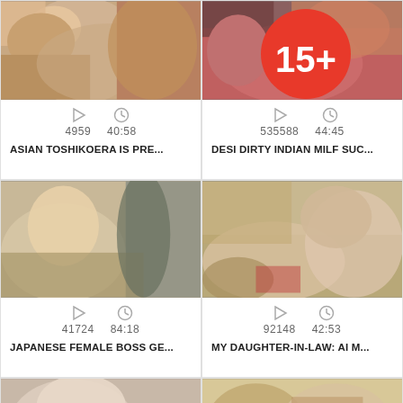[Figure (screenshot): Video thumbnail - close up skin texture]
4959   40:58
ASIAN TOSHIKOERA IS PRE...
[Figure (screenshot): Video thumbnail - woman in red dress on bed with age 15+ badge]
535588   44:45
DESI DIRTY INDIAN MILF SUC...
[Figure (screenshot): Video thumbnail - woman with glasses on phone at office desk]
41724   84:18
JAPANESE FEMALE BOSS GE...
[Figure (screenshot): Video thumbnail - people on floor in traditional Japanese room]
92148   42:53
MY DAUGHTER-IN-LAW: AI M...
[Figure (screenshot): Video thumbnail - woman lying in bed]
[Figure (screenshot): Video thumbnail - man and woman in Japanese room, finger to lips]